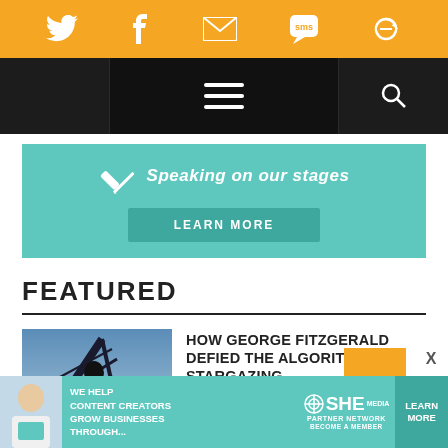[Figure (screenshot): Orange social media sharing bar with Twitter, Facebook, Email, SMS, and refresh/share icons in white]
[Figure (screenshot): Black navigation bar with hamburger menu icon in center and search icon on right, left section darker]
[Figure (illustration): Teal/cyan promotional banner reading 'Speaking on our stages' with pencil icon and a 'LEARN MORE' button]
FEATURED
[Figure (photo): Article thumbnail showing a person silhouetted against sky with structural beams]
HOW GEORGE FITZGERALD DEFIED THE ALGORITHM BY STARGAZING
BY EVAN SAWDEY
[Figure (screenshot): Bottom advertisement banner for SHE Media Partner Network: 'We help content creators grow businesses through...' with Learn More button]